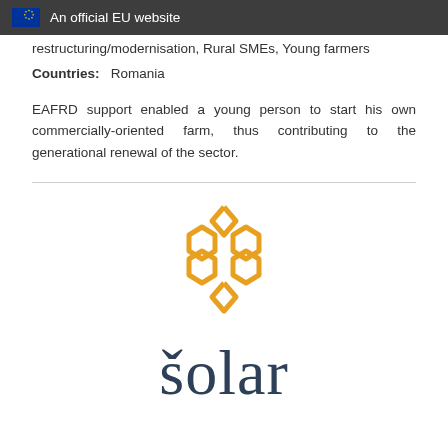An official EU website
restructuring/modernisation, Rural SMEs, Young farmers
Countries:   Romania
EAFRD support enabled a young person to start his own commercially-oriented farm, thus contributing to the generational renewal of the sector.
[Figure (logo): Solar brand logo: geometric hexagonal honeycomb-like symbol in golden/amber color above the word 'šolar' in dark teal serif font]